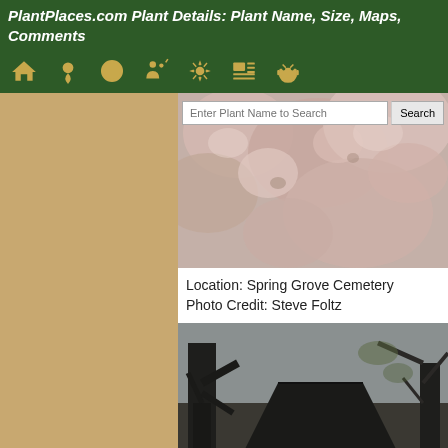PlantPlaces.com Plant Details: Plant Name, Size, Maps, Comments
[Figure (screenshot): Navigation bar with icons: home, map pin, circle/search, people/location, settings/gear, list/gallery, android robot]
[Figure (photo): Close-up photo of pink cherry blossom flowers]
Location: Spring Grove Cemetery
Photo Credit: Steve Foltz
[Figure (photo): Photo of a building with a steep dark roof surrounded by blooming white cherry blossom trees and bare tree trunks in spring]